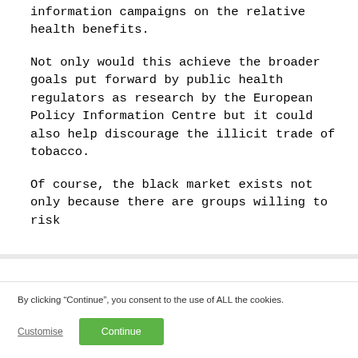information campaigns on the relative health benefits.
Not only would this achieve the broader goals put forward by public health regulators as research by the European Policy Information Centre but it could also help discourage the illicit trade of tobacco.
Of course, the black market exists not only because there are groups willing to risk
By clicking “Continue”, you consent to the use of ALL the cookies.
Customise
Continue